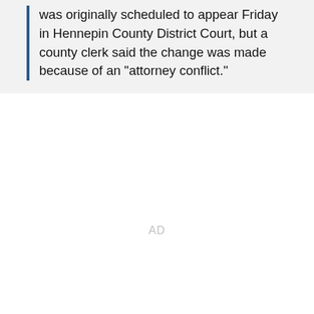was originally scheduled to appear Friday in Hennepin County District Court, but a county clerk said the change was made because of an "attorney conflict."
AD